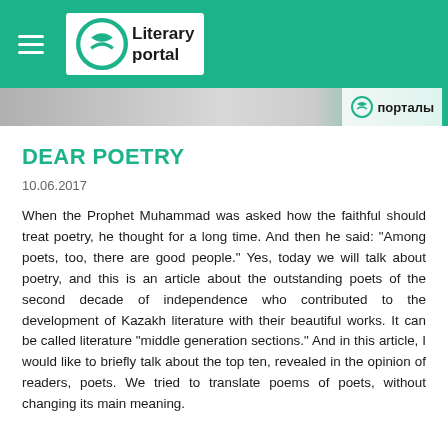Literary portal
[Figure (screenshot): Banner image strip with Literary portal logo and Cyrillic text 'порталы']
DEAR POETRY
10.06.2017
When the Prophet Muhammad was asked how the faithful should treat poetry, he thought for a long time. And then he said: "Among poets, too, there are good people." Yes, today we will talk about poetry, and this is an article about the outstanding poets of the second decade of independence who contributed to the development of Kazakh literature with their beautiful works. It can be called literature "middle generation sections." And in this article, I would like to briefly talk about the top ten, revealed in the opinion of readers, poets. We tried to translate poems of poets, without changing its main meaning.